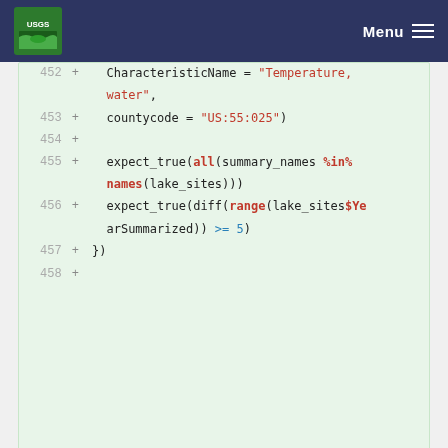USGS Menu
452  +   CharacteristicName = "Temperature, water",
453  +   countycode = "US:55:025")
454  +
455  +   expect_true(all(summary_names %in% names(lake_sites)))
456  +   expect_true(diff(range(lake_sites$YearSummarized)) >= 5)
457  + })
458  +
Please register or sign in to comment